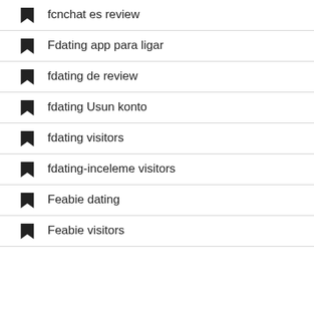fcnchat es review
Fdating app para ligar
fdating de review
fdating Usun konto
fdating visitors
fdating-inceleme visitors
Feabie dating
Feabie visitors